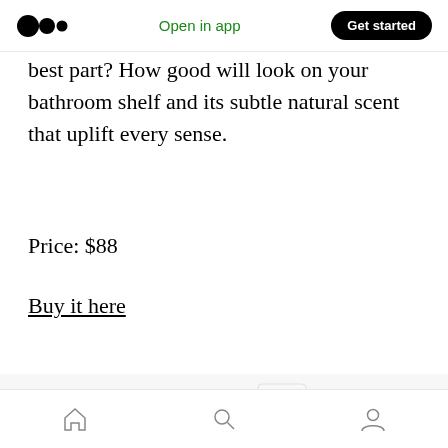Open in app | Get started
best part? How good will look on your bathroom shelf and its subtle natural scent that uplift every sense.
Price: $88
Buy it here
[Figure (photo): Product photo showing a white cosmetics bag with skincare products including a green tube, a white container labeled B BIOLOC, and a gold/beige tube]
Home | Search | Profile